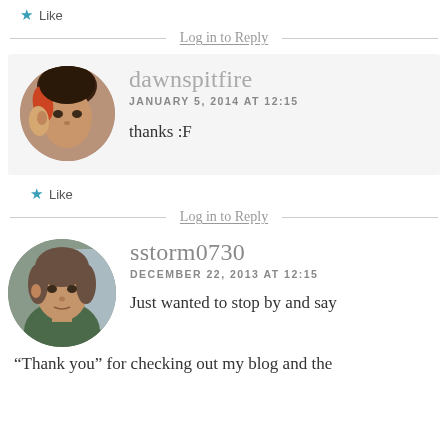Like
Log in to Reply
dawnspitfire
JANUARY 5, 2014 AT 12:15
thanks :F
Like
Log in to Reply
sstorm0730
DECEMBER 22, 2013 AT 12:15
Just wanted to stop by and say “Thank you” for checking out my blog and the